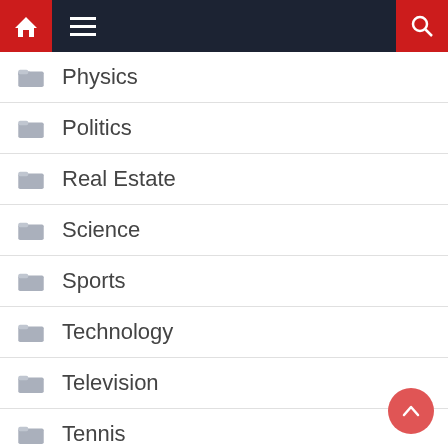Navigation bar with home, menu, and search icons
Physics
Politics
Real Estate
Science
Sports
Technology
Television
Tennis
Tour and Travels
Wildlife